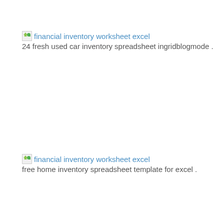[Figure (other): Broken image icon for financial inventory worksheet excel link]
financial inventory worksheet excel
24 fresh used car inventory spreadsheet ingridblogmode .
[Figure (other): Broken image icon for financial inventory worksheet excel link]
financial inventory worksheet excel
free home inventory spreadsheet template for excel .
[Figure (other): Broken image icon for financial inventory worksheet excel link]
financial inventory worksheet excel
small business excel spreadsheet accounting template expense .